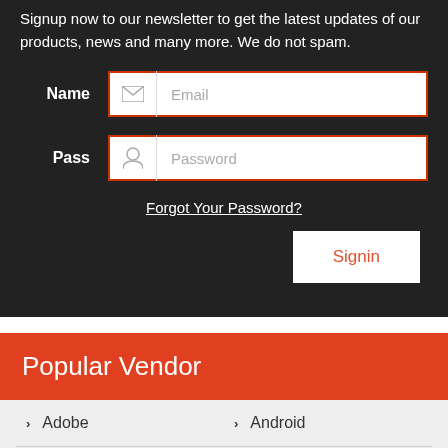Signup now to our newsletter to get the latest updates of our products, news and many more. We do not spam.
Name  Email
Pass  Password
Forgot Your Password?
Signin
Popular Vendor
Adobe
Android
Checkpoint
Citrix
CompTIA
EMC
Exin
HP